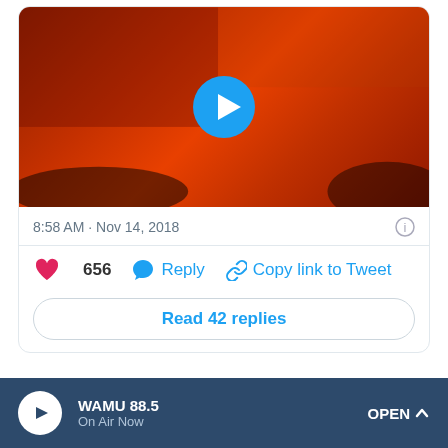[Figure (screenshot): Video thumbnail showing wildfire scene with reddish-orange smoke and a blue play button circle in the center]
8:58 AM · Nov 14, 2018
656  Reply  Copy link to Tweet
Read 42 replies
Sierra Fire: The fire that popped up Wednesday night showed how quickly wildfires can develop when they're driven by offshore winds.
WAMU 88.5  On Air Now  OPEN